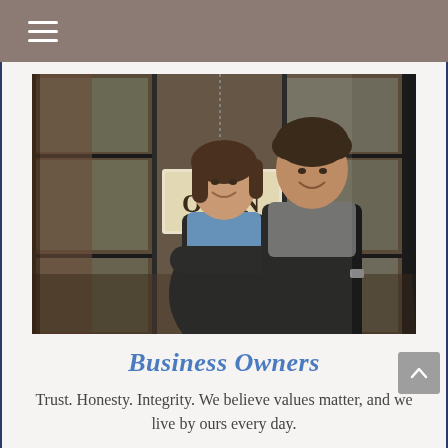[Figure (photo): Two smiling business owners in black aprons standing in front of a shop door with an OPEN sign. A woman with brown hair has her arms crossed; a man with curly dark hair stands beside her. The background shows a cafe/restaurant interior through glass panel doors.]
Business Owners
Trust. Honesty. Integrity. We believe values matter, and we live by ours every day.